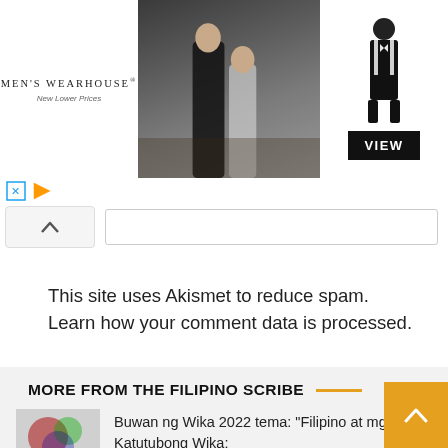[Figure (photo): Men's Wearhouse advertisement banner showing a couple in formal wear and a tuxedo silhouette with a VIEW button]
This site uses Akismet to reduce spam. Learn how your comment data is processed.
MORE FROM THE FILIPINO SCRIBE
Buwan ng Wika 2022 tema: "Filipino at mga Katutubong Wika: